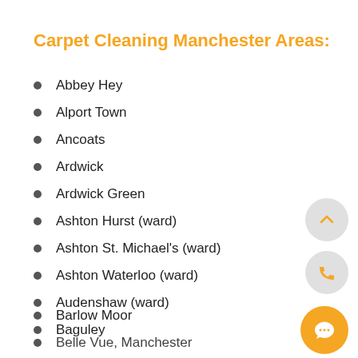Carpet Cleaning Manchester Areas:
Abbey Hey
Alport Town
Ancoats
Ardwick
Ardwick Green
Ashton Hurst (ward)
Ashton St. Michael's (ward)
Ashton Waterloo (ward)
Audenshaw (ward)
Baguley
Barlow Moor
Belle Vue, Manchester